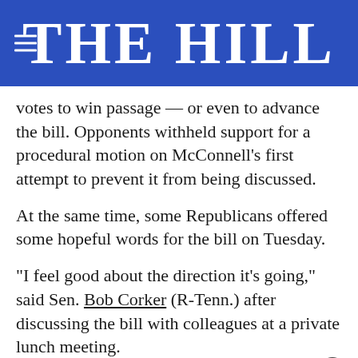THE HILL
votes to win passage — or even to advance the bill. Opponents withheld support for a procedural motion on McConnell's first attempt to prevent it from being discussed.
At the same time, some Republicans offered some hopeful words for the bill on Tuesday.
“I feel good about the direction it’s going,” said Sen. Bob Corker (R-Tenn.) after discussing the bill with colleagues at a private lunch meeting.
[Figure (screenshot): Advertisement banner: GET DOWN WITH YOUR BLOOD PRESSURE - ACT NOW, with ad choices, American Heart Association, and AMA logos]
Repu… that to…